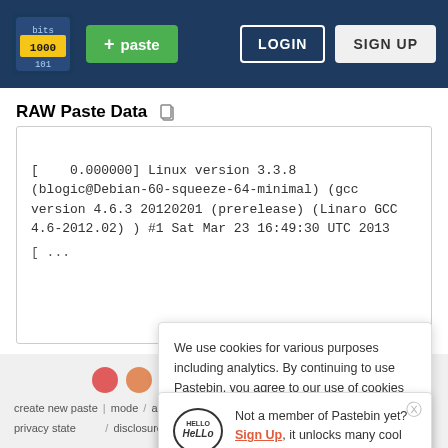Pastebin navigation bar with logo, + paste button, LOGIN and SIGN UP buttons
RAW Paste Data
[    0.000000] Linux version 3.3.8 (blogic@Debian-60-squeeze-64-minimal) (gcc version 4.6.3 20120201 (prerelease) (Linaro GCC 4.6-2012.02) ) #1 Sat Mar 23 16:49:30 UTC 2013
create new | mode / api / scraping api / news / pro | privacy statement / disclosure
We use cookies for various purposes including analytics. By continuing to use Pastebin, you agree to our use of cookies as described in the Cookies Policy. OK, I Understand
Not a member of Pastebin yet? Sign Up, it unlocks many cool features!